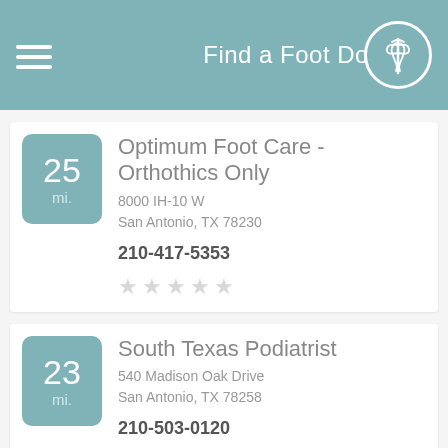Find a Foot Doctor
25 mi. | Optimum Foot Care - Orthothics Only | 8000 IH-10 W, San Antonio, TX 78230 | 210-417-5353
23 mi. | South Texas Podiatrist | 540 Madison Oak Drive, San Antonio, TX 78258 | 210-503-0120
Michael J Barrett